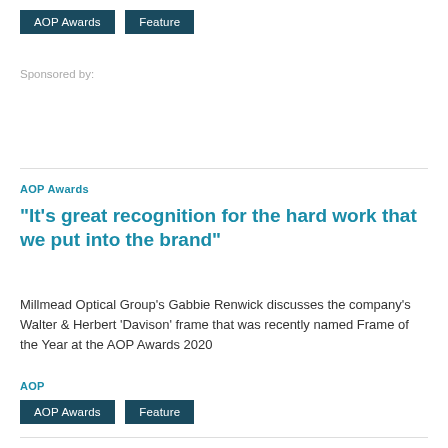AOP Awards   Feature
Sponsored by:
AOP Awards
“It’s great recognition for the hard work that we put into the brand”
Millmead Optical Group’s Gabbie Renwick discusses the company’s Walter & Herbert ‘Davison’ frame that was recently named Frame of the Year at the AOP Awards 2020
AOP
AOP Awards   Feature